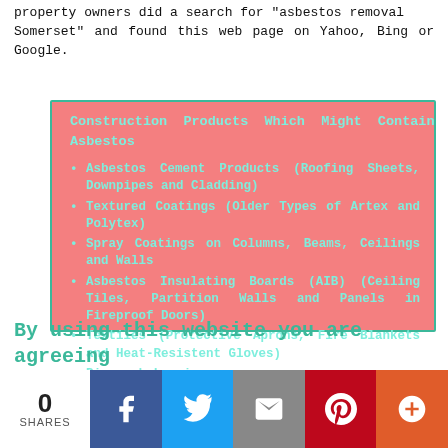property owners did a search for "asbestos removal Somerset" and found this web page on Yahoo, Bing or Google.
Construction Products Which Might Contain Asbestos
Asbestos Cement Products (Roofing Sheets, Downpipes and Cladding)
Textured Coatings (Older Types of Artex and Polytex)
Spray Coatings on Columns, Beams, Ceilings and Walls
Asbestos Insulating Boards (AIB) (Ceiling Tiles, Partition Walls and Panels in Fireproof Doors)
Textiles (Protective Aprons, Fire Blankets and Heat-Resistent Gloves)
Pipework Lagging
Composite Materials (Toilet Cisterns, Window Sills and Bath Panels)
Rope Seals and Gaskets (Particularly on Boilers)
Old Floor Tiles
Roofing Felt (Especially on Garages and Outbuildings)
By using this website you are agreeing
0 SHARES